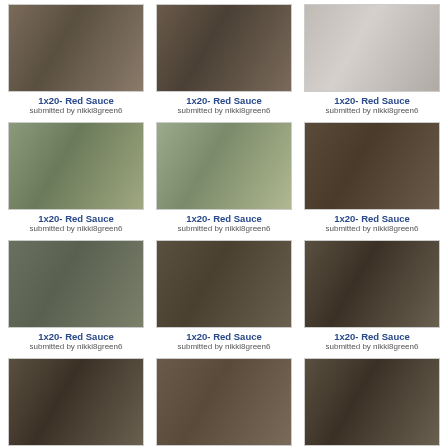[Figure (photo): TV show screenshot - indoor hallway scene]
1x20- Red Sauce
submitted by nikki8green6
[Figure (photo): TV show screenshot - indoor hallway scene]
1x20- Red Sauce
submitted by nikki8green6
[Figure (photo): TV show screenshot - staircase/railing scene]
1x20- Red Sauce
submitted by nikki8green6
[Figure (photo): TV show screenshot - staircase scene with woman holding gun]
1x20- Red Sauce
submitted by nikki8green6
[Figure (photo): TV show screenshot - staircase scene with woman holding gun]
1x20- Red Sauce
submitted by nikki8green6
[Figure (photo): TV show screenshot - close up woman crouching]
1x20- Red Sauce
submitted by nikki8green6
[Figure (photo): TV show screenshot - woman crouching with gun]
1x20- Red Sauce
submitted by nikki8green6
[Figure (photo): TV show screenshot - woman with gun and phone]
1x20- Red Sauce
submitted by nikki8green6
[Figure (photo): TV show screenshot - woman with gun and phone]
1x20- Red Sauce
submitted by nikki8green6
[Figure (photo): TV show screenshot - woman with gun and phone]
1x20- Red Sauce
submitted by nikki8green6
[Figure (photo): TV show screenshot - woman with gun and phone]
1x20- Red Sauce
submitted by nikki8green6
[Figure (photo): TV show screenshot - woman with gun and phone]
1x20- Red Sauce
submitted by nikki8green6
[Figure (photo): TV show screenshot - woman crouching near wall]
1x20- Red Sauce
submitted by nikki8green6
[Figure (photo): TV show screenshot - two people in dark room/bar]
[Figure (photo): TV show screenshot - two people in dark room/bar]